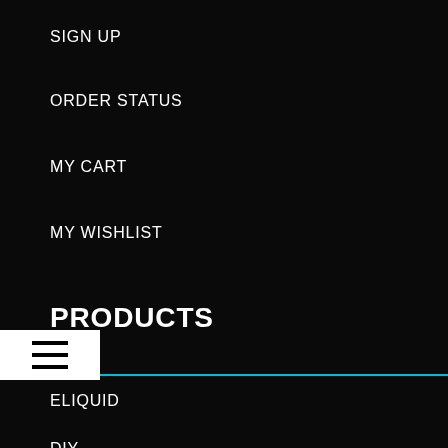SIGN UP
ORDER STATUS
MY CART
MY WISHLIST
PRODUCTS
ELIQUID
DIY
BATTERIES & CHARGERS
TANKS
KITS
MODS & RBA'S
PARTS & ACCESSORIES
SALES
THE VAPE MALL BLOG
CBD